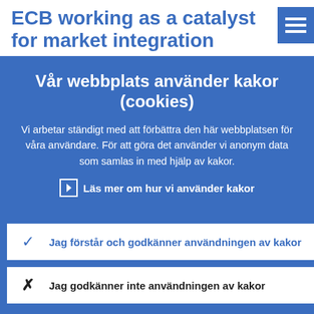ECB working as a catalyst for market integration
Vår webbplats använder kakor (cookies)
Vi arbetar ständigt med att förbättra den här webbplatsen för våra användare. För att göra det använder vi anonym data som samlas in med hjälp av kakor.
Läs mer om hur vi använder kakor
Jag förstår och godkänner användningen av kakor
Jag godkänner inte användningen av kakor